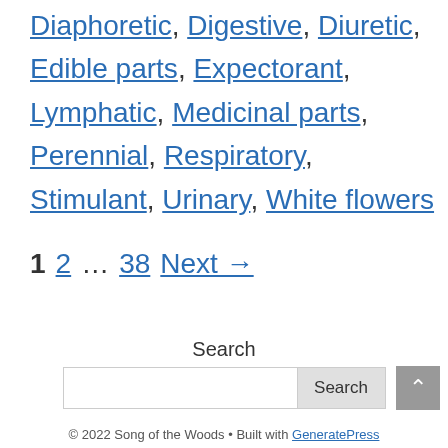Diaphoretic, Digestive, Diuretic, Edible parts, Expectorant, Lymphatic, Medicinal parts, Perennial, Respiratory, Stimulant, Urinary, White flowers
1  2  …  38  Next →
Search
© 2022 Song of the Woods • Built with GeneratePress